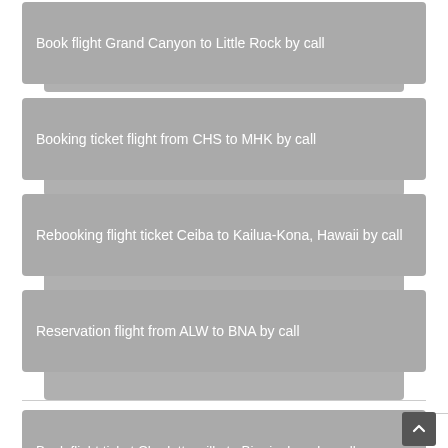Book flight Grand Canyon to Little Rock by call
Booking ticket flight from CHS to MHK by call
Rebooking flight ticket Ceiba to Kailua-Kona, Hawaii by call
Reservation flight from ALW to BNA by call
Book flight ticket Charlottesville to Birmingham by call
Change flight Midland to Gillette by phone
Cancel flight ticket Barrow to Columbus by call